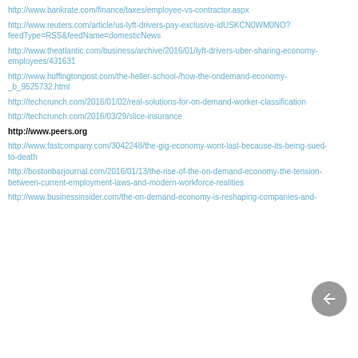http://www.bankrate.com/finance/taxes/employee-vs-contractor.aspx
http://www.reuters.com/article/us-lyft-drivers-pay-exclusive-idUSKCN0WM0NO?feedType=RSS&feedName=domesticNews
http://www.theatlantic.com/business/archive/2016/01/lyft-drivers-uber-sharing-economy-employees/431631
http://www.huffingtonpost.com/the-heller-school-/how-the-ondemand-economy-_b_9525732.html
http://techcrunch.com/2016/01/02/real-solutions-for-on-demand-worker-classification
http://techcrunch.com/2016/03/29/slice-insurance
http://www.peers.org
http://www.fastcompany.com/3042248/the-gig-economy-wont-last-because-its-being-sued-to-death
http://bostonbarjournal.com/2016/01/13/the-rise-of-the-on-demand-economy-the-tension-between-current-employment-laws-and-modern-workforce-realities
http://www.businessinsider.com/the-on-demand-economy-is-reshaping-companies-and-